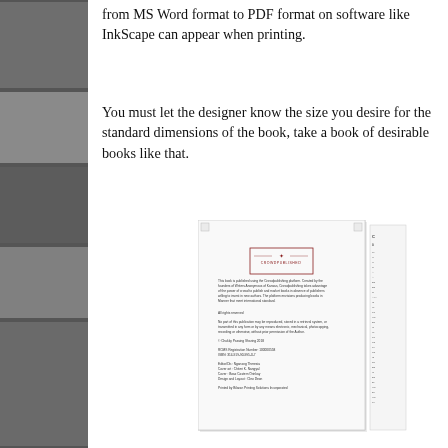from MS Word format to PDF format on software like InkScape can appear when printing.
You must let the designer know the size you desire for the standard dimensions of the book, take a book of desirable books like that.
[Figure (illustration): A scanned book copyright/credits page showing a Crowdpublished logo with wings emblem in a red border box, followed by small paragraphs of publishing platform description, rights reserved notice, copyright information, ISBN/registration numbers, editorial credits, and printer information. A partial table of contents page is visible to the right.]